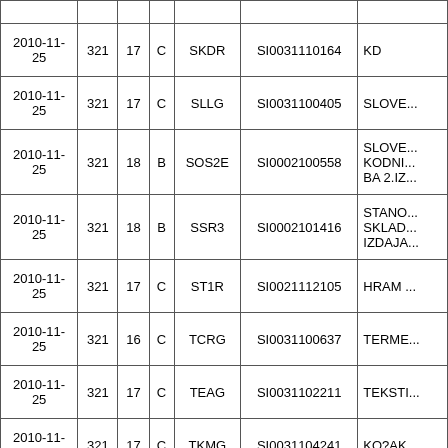| Date | Col2 | Col3 | Col4 | Col5 | Col6 | Col7 |
| --- | --- | --- | --- | --- | --- | --- |
| 2010-11-25 | 321 | 17 | C | SKDR | SI0031110164 | KD |
| 2010-11-25 | 321 | 17 | C | SLLG | SI0031100405 | SLOVE... |
| 2010-11-25 | 321 | 18 | B | SOS2E | SI0002100558 | SLOVE... KODNI... BA 2.IZ... |
| 2010-11-25 | 321 | 18 | B | SSR3 | SI0002101416 | STANO... SKLAD... IZDAJA... |
| 2010-11-25 | 321 | 17 | C | ST1R | SI0021112105 | HRAM ... |
| 2010-11-25 | 321 | 16 | C | TCRG | SI0031100637 | TERME... |
| 2010-11-25 | 321 | 17 | C | TEAG | SI0031102211 | TEKSTI... |
| 2010-11-25 | 321 | 17 | C | TKMG | SI0031104241 | KO?AK... |
| 2010-11-25 | 321 | 15 | C | TLSG | SI0031104290 | TELEKO... SLOVE... |